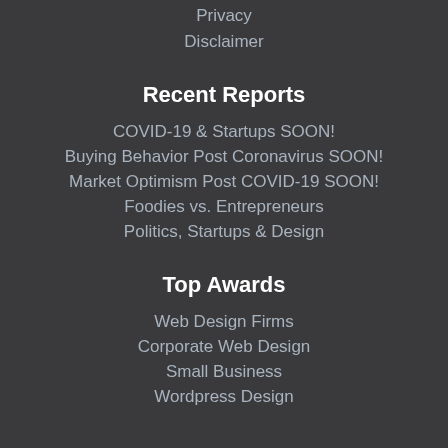Privacy
Disclaimer
Recent Reports
COVID-19 & Startups SOON!
Buying Behavior Post Coronavirus SOON!
Market Optimism Post COVID-19 SOON!
Foodies vs. Entrepreneurs
Politics, Startups & Design
Top Awards
Web Design Firms
Corporate Web Design
Small Business
Wordpress Design